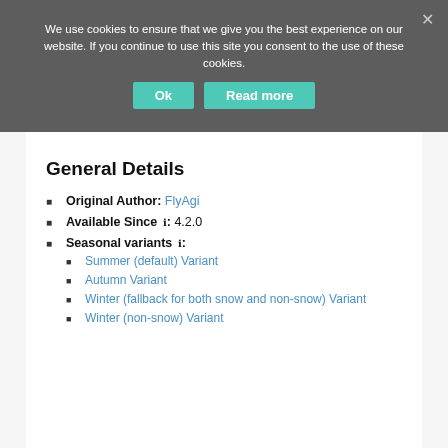We use cookies to ensure that we give you the best experience on our website. If you continue to use this site you consent to the use of these cookies.
General Details
Original Author: FlyAgi
Available Since ℹ: 4.2.0
Seasonal variants ℹ:
Summer (default) Variant
Autumn Variant
Winter (fallback for both snow and non-snow) Variant
Winter (non-snow) Variant